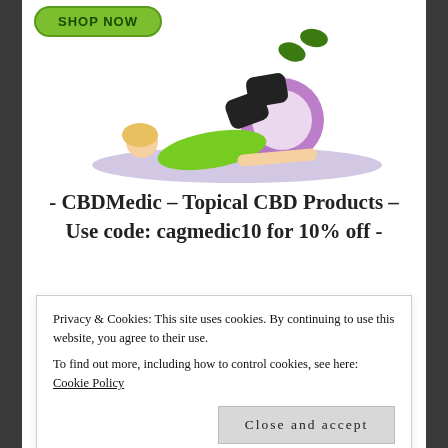[Figure (photo): Woman lying on a yoga mat using a purple yoga wheel, wearing green sports top and black shorts. A green 'SHOP NOW' button appears at top left.]
- CBDMedic – Topical CBD Products – Use code: cagmedic10 for 10% off -
[Figure (logo): CBDMedic logo box with green border showing logo marks and text 'CBDMedic Revolutionary. SAFE.']
Privacy & Cookies: This site uses cookies. By continuing to use this website, you agree to their use.
To find out more, including how to control cookies, see here: Cookie Policy
Close and accept